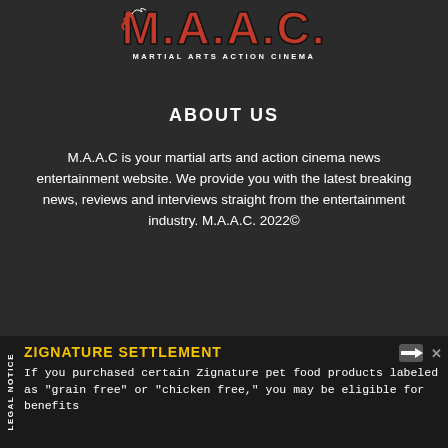[Figure (logo): M.A.A.C. Martial Arts Action Cinema logo with stylized letters in red/white on dark background]
ABOUT US
M.A.A.C is your martial arts and action cinema news entertainment website. We provide you with the latest breaking news, reviews and interviews straight from the entertainment industry. M.A.A.C. 2022©
Contact us: info@maactioncinema.com
FOLLOW US
[Figure (other): Dropdown chevron button (white background with down arrow)]
LEGAL NOTICE
ZIGNATURE SETTLEMENT If you purchased certain Zignature pet food products labeled as "grain free" or "chicken free," you may be eligible for benefits